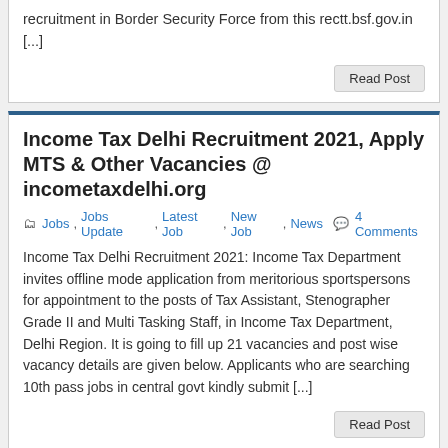recruitment in Border Security Force from this rectt.bsf.gov.in [...]
Read Post
Income Tax Delhi Recruitment 2021, Apply MTS & Other Vacancies @ incometaxdelhi.org
Jobs, Jobs Update, Latest Job, New Job, News  4 Comments
Income Tax Delhi Recruitment 2021: Income Tax Department invites offline mode application from meritorious sportspersons for appointment to the posts of Tax Assistant, Stenographer Grade II and Multi Tasking Staff, in Income Tax Department, Delhi Region. It is going to fill up 21 vacancies and post wise vacancy details are given below. Applicants who are searching 10th pass jobs in central govt kindly submit [...]
Read Post
GSRTC Himatnagar Apprentice Recruitment 2021